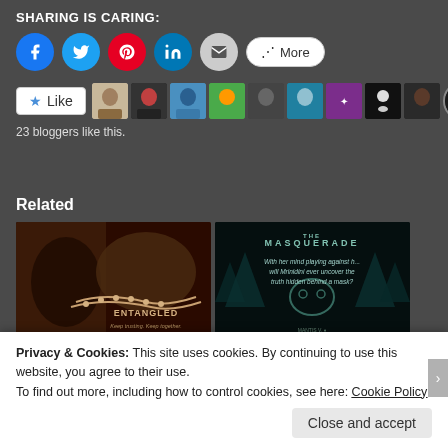SHARING IS CARING:
[Figure (screenshot): Social share buttons: Facebook (blue circle), Twitter (teal circle), Pinterest (red circle), LinkedIn (blue circle), Email (gray circle), More button]
[Figure (screenshot): Like button with star icon and avatar strip of blogger profile pictures]
23 bloggers like this.
Related
[Figure (photo): Book cover - ENTANGLED, brown/dark tones with hands holding beads]
[Figure (photo): Book cover - THE MASQUERADE, dark teal forest background with mask, text: With her mind playing against h... will Mrinidini ever uncover the truth hidden behind a mask?]
Privacy & Cookies: This site uses cookies. By continuing to use this website, you agree to their use.
To find out more, including how to control cookies, see here: Cookie Policy
Close and accept